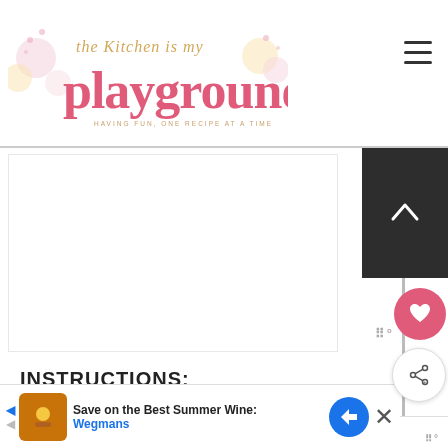the Kitchen is my playground
[Figure (logo): The Kitchen is my Playground blog logo with pink cursive text and cupcake decorations. Tagline: HAVING FUN, ONE RECIPE AT A TIME]
[Figure (screenshot): Navigation hamburger menu icon (three horizontal lines)]
[Figure (screenshot): White image area / content placeholder]
INSTRUCTIONS:
1. BOTTOM: Using a fork or an
[Figure (screenshot): What's Next widget showing No-Bake Chocolate... with a dessert thumbnail]
[Figure (screenshot): Wegmans advertisement banner: Save on the Best Summer Wines - Wegmans]
[Figure (screenshot): Heart/favorite button (pink circle with heart icon)]
[Figure (screenshot): Share button (circle with share icon)]